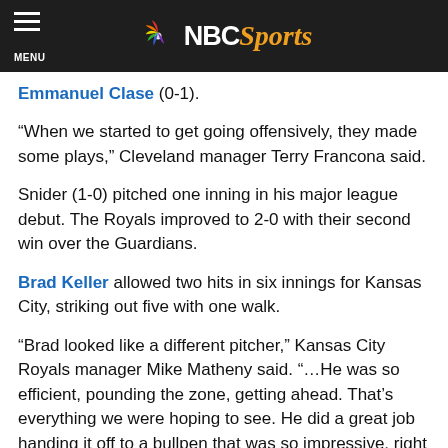NBC Sports
Emmanuel Clase (0-1).
“When we started to get going offensively, they made some plays,” Cleveland manager Terry Francona said.
Snider (1-0) pitched one inning in his major league debut. The Royals improved to 2-0 with their second win over the Guardians.
Brad Keller allowed two hits in six innings for Kansas City, striking out five with one walk.
“Brad looked like a different pitcher,” Kansas City Royals manager Mike Matheny said. “…He was so efficient, pounding the zone, getting ahead. That’s everything we were hoping to see. He did a great job handing it off to a bullpen that was so impressive, right down the line, every single one of them.”